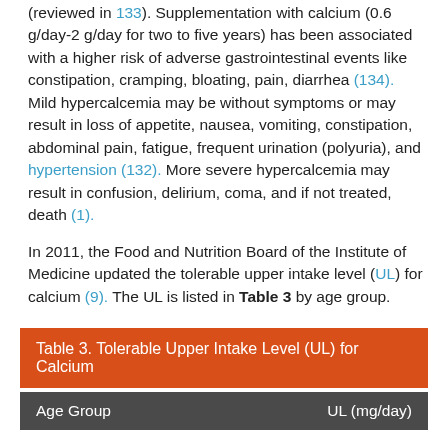(reviewed in 133). Supplementation with calcium (0.6 g/day-2 g/day for two to five years) has been associated with a higher risk of adverse gastrointestinal events like constipation, cramping, bloating, pain, diarrhea (134). Mild hypercalcemia may be without symptoms or may result in loss of appetite, nausea, vomiting, constipation, abdominal pain, fatigue, frequent urination (polyuria), and hypertension (132). More severe hypercalcemia may result in confusion, delirium, coma, and if not treated, death (1).
In 2011, the Food and Nutrition Board of the Institute of Medicine updated the tolerable upper intake level (UL) for calcium (9). The UL is listed in Table 3 by age group.
Table 3. Tolerable Upper Intake Level (UL) for Calcium
| Age Group | UL (mg/day) |
| --- | --- |